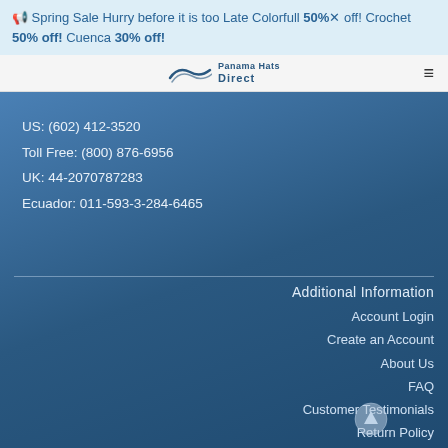Spring Sale Hurry before it is too Late Colorfull 50% off! Crochet 50% off! Cuenca 30% off!
[Figure (logo): Panama Hats Direct logo with wave graphic]
US: (602) 412-3520
Toll Free: (800) 876-6956
UK: 44-2070787283
Ecuador: 011-593-3-284-6465
Additional Information
Account Login
Create an Account
About Us
FAQ
Customer Testimonials
Return Policy